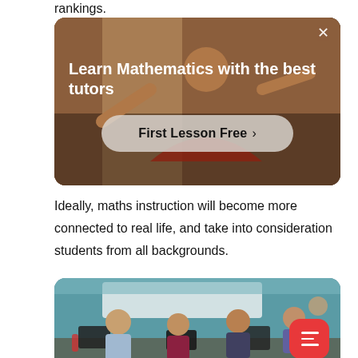rankings.
[Figure (photo): Advertisement banner showing a teacher in a classroom with text 'Learn Mathematics with the best tutors' and a 'First Lesson Free >' button, with a close (×) icon in the top right corner.]
Ideally, maths instruction will become more connected to real life, and take into consideration students from all backgrounds.
[Figure (photo): Photograph of students (children of Asian appearance) sitting at computers in a classroom with a teal/blue wall and a whiteboard in the background. A red menu/list FAB button appears in the bottom right corner.]